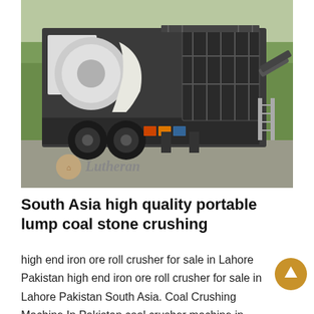[Figure (photo): A large mobile stone crushing machine mounted on a truck/trailer chassis, photographed outdoors in a yard with trees in the background. A watermark reads 'Lutheran' with a logo icon in the lower left of the image.]
South Asia high quality portable lump coal stone crushing
high end iron ore roll crusher for sale in Lahore Pakistan high end iron ore roll crusher for sale in Lahore Pakistan South Asia. Coal Crushing Machine In Pakistan coal crusher machine in pakistan price uganda coal crusher machine in pakistan price uganda portable stone crushers uganda pomodu used iro ore crusher price in south africa